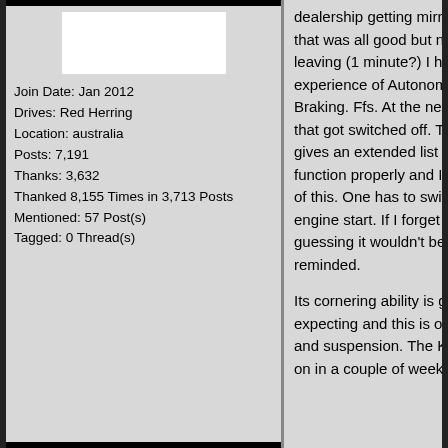[Figure (photo): White avatar/profile image placeholder box]
Join Date: Jan 2012
Drives: Red Herring
Location: australia
Posts: 7,191
Thanks: 3,632
Thanked 8,155 Times in 3,713 Posts
Mentioned: 57 Post(s)
Tagged: 0 Thread(s)
dealership getting mirrors and seat right, that was all good but not long after leaving (1 minute?) I had my first experience of Autonomous Emergency Braking. Ffs. At the next set of traffic lights that got switched off. The owner's manual gives an extended list of when it might not function properly and I had an experience of this. One has to switch it off after each engine start. If I forget to do this I'm guessing it wouldn't be long before I am reminded.
Its cornering ability is greater than I was expecting and this is on standard tyres and suspension. The KWs will be going on in a couple of weeks time